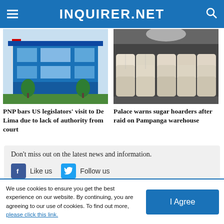INQUIRER.NET
[Figure (photo): Exterior of a blue glass building with flagpole and trees in front]
[Figure (photo): Interior of a warehouse stacked with large white sacks of sugar]
PNP bars US legislators' visit to De Lima due to lack of authority from court
Palace warns sugar hoarders after raid on Pampanga warehouse
Don't miss out on the latest news and information.
Like us
Follow us
We use cookies to ensure you get the best experience on our website. By continuing, you are agreeing to our use of cookies. To find out more, please click this link.
I Agree